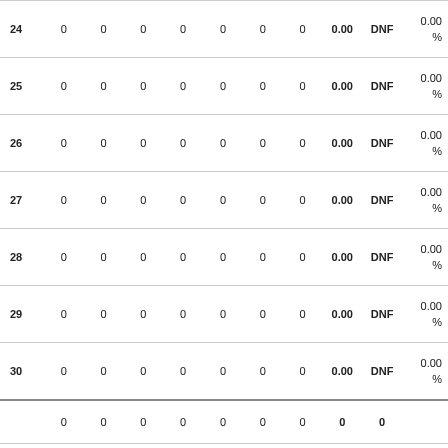|  |  |  |  |  |  |  |  |  |  |  |
| --- | --- | --- | --- | --- | --- | --- | --- | --- | --- | --- |
| 24 | 0 | 0 | 0 | 0 | 0 | 0 | 0 | 0.00 | DNF | 0.00
% |
| 25 | 0 | 0 | 0 | 0 | 0 | 0 | 0 | 0.00 | DNF | 0.00
% |
| 26 | 0 | 0 | 0 | 0 | 0 | 0 | 0 | 0.00 | DNF | 0.00
% |
| 27 | 0 | 0 | 0 | 0 | 0 | 0 | 0 | 0.00 | DNF | 0.00
% |
| 28 | 0 | 0 | 0 | 0 | 0 | 0 | 0 | 0.00 | DNF | 0.00
% |
| 29 | 0 | 0 | 0 | 0 | 0 | 0 | 0 | 0.00 | DNF | 0.00
% |
| 30 | 0 | 0 | 0 | 0 | 0 | 0 | 0 | 0.00 | DNF | 0.00
% |
|  | 0 | 0 | 0 | 0 | 0 | 0 | 0 | 0 | 0 |  |